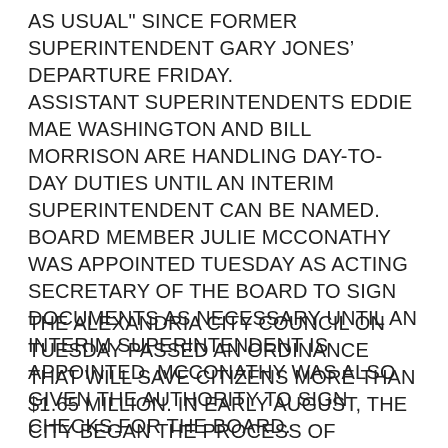AS USUAL" SINCE FORMER SUPERINTENDENT GARY JONES' DEPARTURE FRIDAY. ASSISTANT SUPERINTENDENTS EDDIE MAE WASHINGTON AND BILL MORRISON ARE HANDLING DAY-TO-DAY DUTIES UNTIL AN INTERIM SUPERINTENDENT CAN BE NAMED. BOARD MEMBER JULIE MCCONATHY WAS APPOINTED TUESDAY AS ACTING SECRETARY OF THE BOARD TO SIGN DOCUMENTS AS NECESSARY UNTIL AN INTERIM SUPERINTENDENT IS APPOINTED. MCCONATHY WAS ALSO GIVEN THE AUTHORITY TO SIGN CHECKS FOR THE BOARD.
THE ALEXANDRIA CITY COUNCIL ON TUESDAY PASSED AN ORDINANCE THAT WILL SAVE CITIZENS MORE THAN $1.65 MILLION. IN EARLY AUGUST, THE CITY BEGAN THE PROCESS OF SELLING $10 MILLION IN LIMITED TAX BONDS TO REFINANCE SOME CITY DEBT. AT THAT TIME IT WAS ESTIMATED THAT BY USING A TAX BOND INSTEAD OF A CERTIFICATE OF